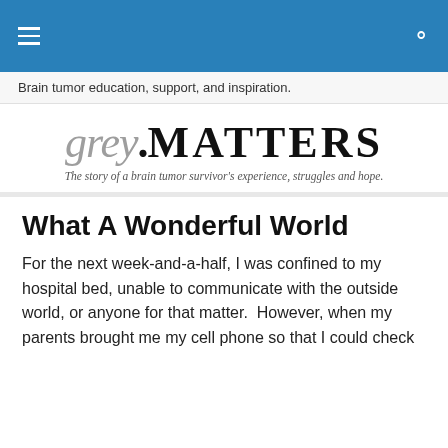Navigation bar with hamburger menu and search icon
Brain tumor education, support, and inspiration.
[Figure (logo): grey.MATTERS logo with tagline: The story of a brain tumor survivor's experience, struggles and hope.]
What A Wonderful World
For the next week-and-a-half, I was confined to my hospital bed, unable to communicate with the outside world, or anyone for that matter.  However, when my parents brought me my cell phone so that I could check